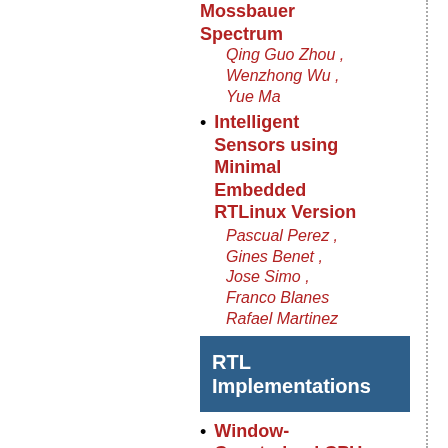Mossbauer Spectrum Qing Guo Zhou , Wenzhong Wu , Yue Ma
Intelligent Sensors using Minimal Embedded RTLinux Version Pascual Perez , Gines Benet , Jose Simo , Franco Blanes Rafael Martinez
RTL Implementations
Window-Constrained CPU